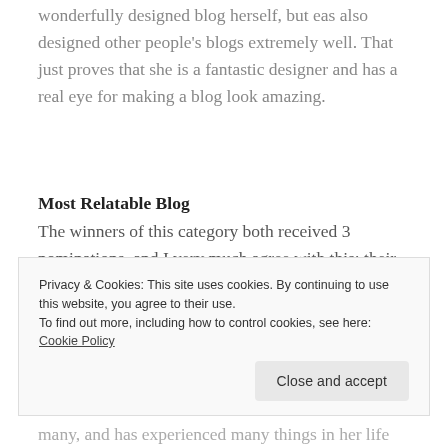wonderfully designed blog herself, but eas also designed other people's blogs extremely well. That just proves that she is a fantastic designer and has a real eye for making a blog look amazing.
Most Relatable Blog
The winners of this category both received 3 nominations, and I very much agree with this: their posts are always lovely to read, not least because
Privacy & Cookies: This site uses cookies. By continuing to use this website, you agree to their use.
To find out more, including how to control cookies, see here: Cookie Policy
many, and has experienced many things in her life